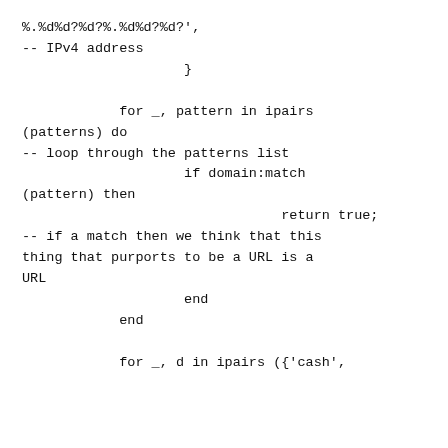%.%d%d?%d?%.%d%d?%d?',
-- IPv4 address
                    }

            for _, pattern in ipairs
(patterns) do
-- loop through the patterns list
                    if domain:match
(pattern) then
                                return true;
-- if a match then we think that this
thing that purports to be a URL is a
URL
                    end
            end

            for _, d in ipairs ({'cash',